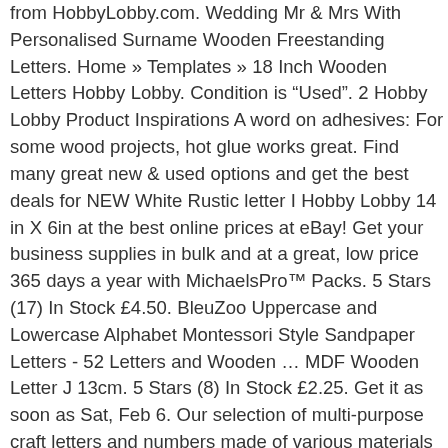from HobbyLobby.com. Wedding Mr & Mrs With Personalised Surname Wooden Freestanding Letters. Home » Templates » 18 Inch Wooden Letters Hobby Lobby. Condition is "Used". 2 Hobby Lobby Product Inspirations A word on adhesives: For some wood projects, hot glue works great. Find many great new & used options and get the best deals for NEW White Rustic letter I Hobby Lobby 14 in X 6in at the best online prices at eBay! Get your business supplies in bulk and at a great, low price 365 days a year with MichaelsPro™ Packs. 5 Stars (17) In Stock £4.50. BleuZoo Uppercase and Lowercase Alphabet Montessori Style Sandpaper Letters - 52 Letters and Wooden ... MDF Wooden Letter J 13cm. 5 Stars (8) In Stock £2.25. Get it as soon as Sat, Feb 6. Our selection of multi-purpose craft letters and numbers made of various materials such as wood and metal.The wooden decorative letters, including our vine letters and natural wood letters are perfect for painting, so you can customize your own wreath monogram. Download by size: Handphone Tablet Desktop (Original Size) Wood Letters Hobby Lobby is templates for spreadsheet and letters